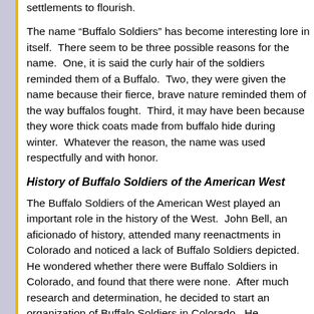settlements to flourish.
The name “Buffalo Soldiers” has become interesting lore in itself. There seem to be three possible reasons for the name. One, it is said the curly hair of the soldiers reminded them of a Buffalo. Two, they were given the name because their fierce, brave nature reminded them of the way buffalos fought. Third, it may have been because they wore thick coats made from buffalo hide during winter. Whatever the reason, the name was used respectfully and with honor.
History of Buffalo Soldiers of the American West
The Buffalo Soldiers of the American West played an important role in the history of the West. John Bell, an aficionado of history, attended many reenactments in Colorado and noticed a lack of Buffalo Soldiers depicted. He wondered whether there were Buffalo Soldiers in Colorado, and found that there were none. After much research and determination, he decided to start an organization of Buffalo Soldiers in Colorado. He considered the following questions before he began: